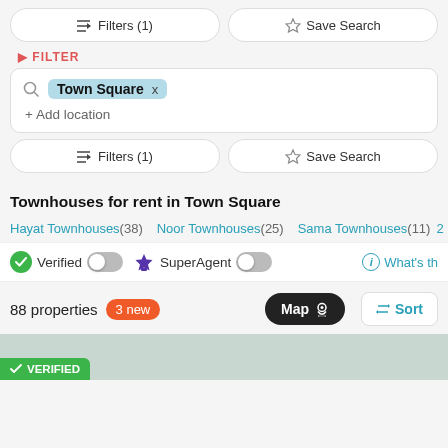[Figure (screenshot): Top filter bar with Filters (1) and Save Search buttons]
FILTER
Town Square  x
+ Add location
Filters (1)  Save Search
Townhouses for rent in Town Square
Hayat Townhouses (38)  Noor Townhouses (25)  Sama Townhouses (11)  2...
Verified  SuperAgent  What's th
88 properties  3 new  Map  Sort
VERIFIED